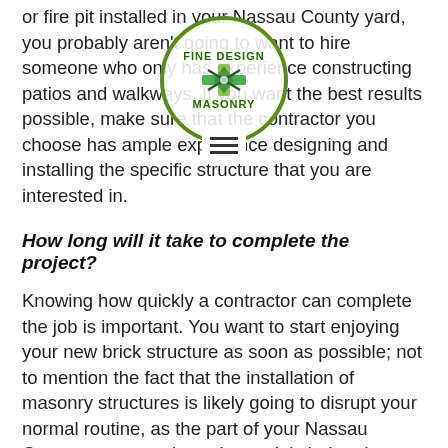or fire pit installed in your Nassau County yard, you probably aren't going to want to hire someone who only has experience constructing patios and walkways. If you want the best results possible, make sure that the contractor you choose has ample experience designing and installing the specific structure that you are interested in.
[Figure (logo): Fine Design Masonry logo - circular green bordered logo with crossed tools emblem]
How long will it take to complete the project?
Knowing how quickly a contractor can complete the job is important. You want to start enjoying your new brick structure as soon as possible; not to mention the fact that the installation of masonry structures is likely going to disrupt your normal routine, as the part of your Nassau County property where the work is being done will be off-limits until the project is complete. Be sure that the brick masonry contractors near you that you are considering hiring provide a clear timeline of completion. However, do note that if you're having something elaborate installed – a brick patio, fire pit, and outdoor kitchen, for example – if a